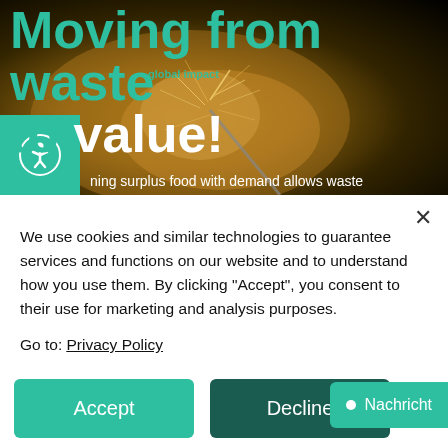[Figure (screenshot): Hero banner with dark/orange background showing sparkler image. Large teal heading 'Moving from waste to value!' overlaid. MSRV logo visible top-left. Accessibility icon bottom-left. Partial text at bottom edge: 'ning surplus food with demand allows waste']
We use cookies and similar technologies to guarantee services and functions on our website and to understand how you use them. By clicking "Accept", you consent to their use for marketing and analysis purposes.

Go to: Privacy Policy